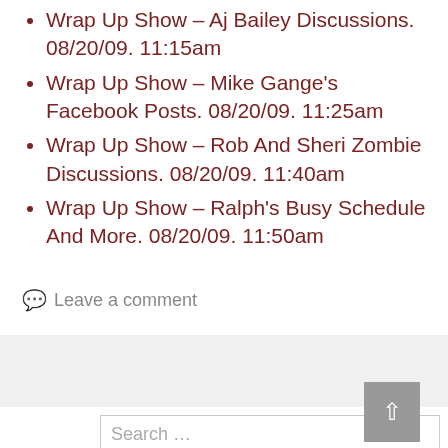Wrap Up Show – Aj Bailey Discussions. 08/20/09. 11:15am
Wrap Up Show – Mike Gange's Facebook Posts. 08/20/09. 11:25am
Wrap Up Show – Rob And Sheri Zombie Discussions. 08/20/09. 11:40am
Wrap Up Show – Ralph's Busy Schedule And More. 08/20/09. 11:50am
Leave a comment
Search …